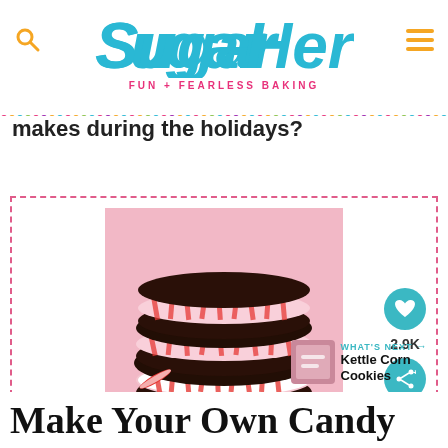SUGARHERO! FUN + FEARLESS BAKING
makes during the holidays?
[Figure (photo): Stack of chocolate peppermint sandwich cookies with crushed candy cane filling on a pink background with candy canes]
2.9K
WHAT'S NEXT → Kettle Corn Cookies
Make Your Own Candy